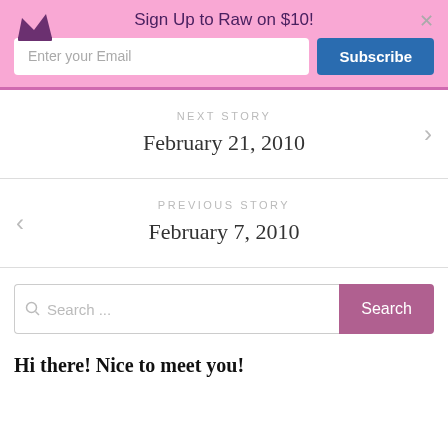Sign Up to Raw on $10!
Enter your Email
Subscribe
NEXT STORY
February 21, 2010
PREVIOUS STORY
February 7, 2010
Search ...
Hi there! Nice to meet you!